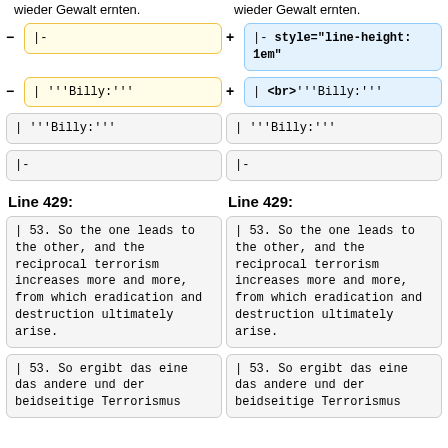wieder Gewalt ernten.   wieder Gewalt ernten.
|- (yellow/removed)   |- style="line-height: 1em" (blue/added)
| '''Billy:''' (yellow/removed)   | <br>'''Billy:''' (blue/added)
| '''Billy:'''   | '''Billy:'''
|-   |-
Line 429:   Line 429:
| 53. So the one leads to the other, and the reciprocal terrorism increases more and more, from which eradication and destruction ultimately arise.
| 53. So ergibt das eine das andere und der beidseitige Terrorismus